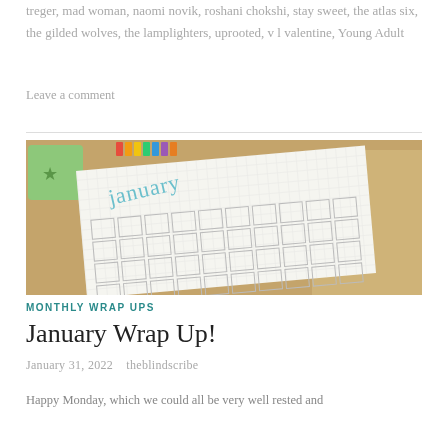treger, mad woman, naomi novik, roshani chokshi, stay sweet, the atlas six, the gilded wolves, the lamplighters, uprooted, v l valentine, Young Adult
Leave a comment
[Figure (photo): Photo of a bullet journal open to a January calendar spread, with a green mug and colorful marker pens on a wooden table with fabric.]
MONTHLY WRAP UPS
January Wrap Up!
January 31, 2022    theblindscribe
Happy Monday, which we could all be very well rested and